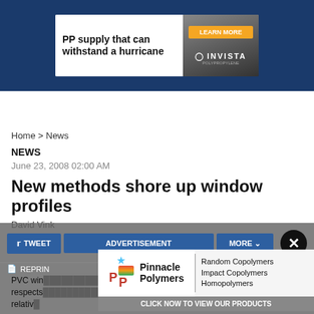[Figure (infographic): Advertisement banner: PP supply that can withstand a hurricane — Invista, with Learn More button]
Home > News
NEWS
June 23, 2008 02:00 AM
New methods shore up window profiles
David Vink
[Figure (screenshot): Social sharing overlay with TWEET button, ADVERTISEMENT label, MORE button, and close (X) button]
REPRINT
[Figure (infographic): Popup advertisement for Pinnacle Polymers: Random Copolymers, Impact Copolymers, Homopolymers — Click Now to View Our Products]
PVC win... many respects... the relative...